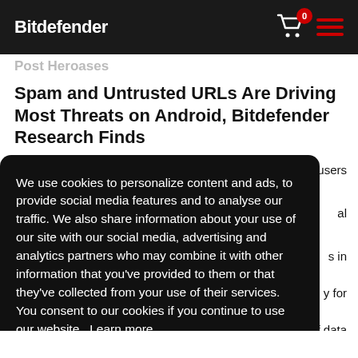Bitdefender
Spam and Untrusted URLs Are Driving Most Threats on Android, Bitdefender Research Finds
We use cookies to personalize content and ads, to provide social media features and to analyse our traffic. We also share information about your use of our site with our social media, advertising and analytics partners who may combine it with other information that you’ve provided to them or that they’ve collected from your use of their services. You consent to our cookies if you continue to use our website. Learn more
Got it!